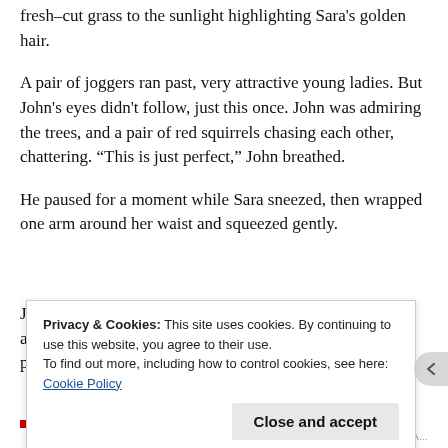fresh-cut grass to the sunlight highlighting Sara's golden hair.
A pair of joggers ran past, very attractive young ladies. But John's eyes didn't follow, just this once. John was admiring the trees, and a pair of red squirrels chasing each other, chattering. “This is just perfect,” John breathed.
He paused for a moment while Sara sneezed, then wrapped one arm around her waist and squeezed gently.
J... a... p...
Privacy & Cookies: This site uses cookies. By continuing to use this website, you agree to their use.
To find out more, including how to control cookies, see here: Cookie Policy
Close and accept